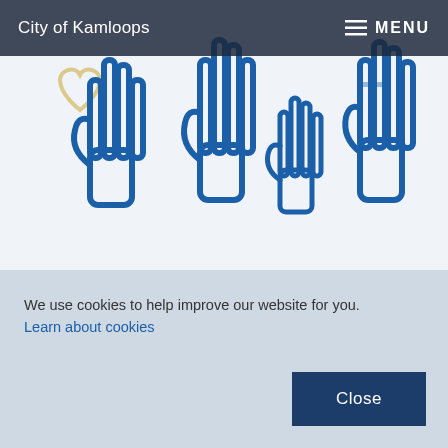City of Kamloops   ≡ MENU
[Figure (illustration): Blue line-art illustration of multiple raised hands/volunteers on a light background with decorative hearts and plus signs]
Call for Volunteers >
We use cookies to help improve our website for you. Learn about cookies
Close